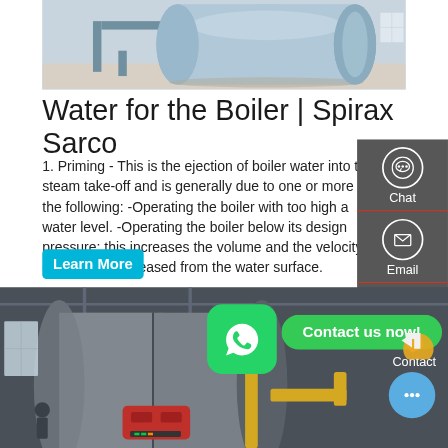[Figure (photo): Industrial boiler equipment in a factory setting — large cylindrical blue boiler on supports with piping, bright interior lighting]
Water for the Boiler | Spirax Sarco
1. Priming - This is the ejection of boiler water into the steam take-off and is generally due to one or more of the following: -Operating the boiler with too high a water level. -Operating the boiler below its design pressure; this increases the volume and the velocity of the steam released from the water surface.
[Figure (other): Learn More button (cyan/teal rounded rectangle)]
[Figure (other): Right sidebar with Chat, Email, and Contact icons on dark grey background with red dividers]
[Figure (photo): Industrial boiler room with large cylindrical boiler, red burner unit, yellow gas pipes, and various pipe fittings]
[Figure (other): WhatsApp icon button (green rounded square with phone handset icon)]
[Figure (other): Contact us now! button in green, with chat bubble FAB icon]